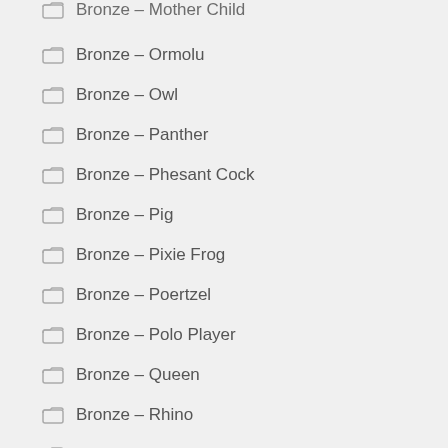Bronze – Mother Child
Bronze – Ormolu
Bronze – Owl
Bronze – Panther
Bronze – Phesant Cock
Bronze – Pig
Bronze – Pixie Frog
Bronze – Poertzel
Bronze – Polo Player
Bronze – Queen
Bronze – Rhino
Bronze – Rodin
Bronze – Rolls Royce
Bronze – Roman